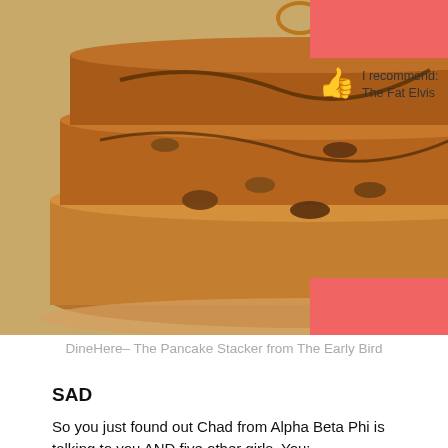[Figure (photo): Stack of pancakes with toppings on a plate, photographed from slightly above. A red banner/bar is visible on the upper right and lower right corners. A thumbs up icon and recommendation text appear in the right sidebar area.]
DineHere– The Pancake Stacker from The Early Bird
SAD
So you just found out Chad from Alpha Beta Phi is talking to you AND five other girls. You:
A) Cry
B) Binge eat to dull the pain
C) All of the above